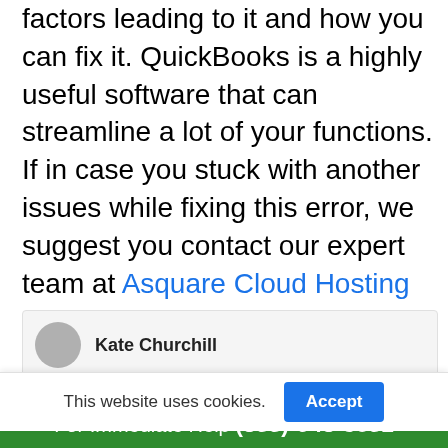factors leading to it and how you can fix it. QuickBooks is a highly useful software that can streamline a lot of your functions. If in case you stuck with another issues while fixing this error, we suggest you contact our expert team at Asquare Cloud Hosting Helpline Number for instant help!
Kate Churchill
This website uses cookies.
Accept
For Immediate Help (855)-948-3651